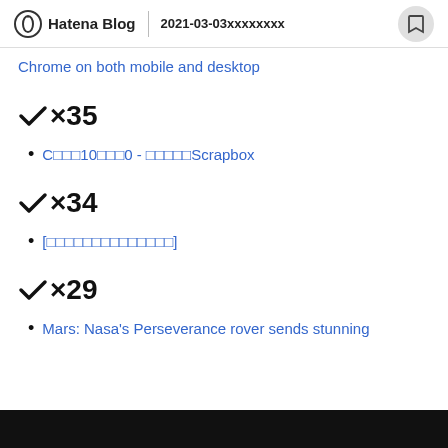Hatena Blog | 2021-03-03xxxxxxxxx
Chrome on both mobile and desktop
✔×35
Cxxx10xxx0 - xxxxxScrapbox
✔×34
[xxxxxxxxxxxxxx]
✔×29
Mars: Nasa's Perseverance rover sends stunning